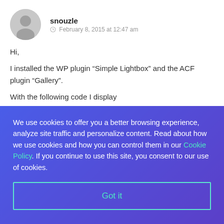[Figure (illustration): Gray circular avatar with a generic person silhouette icon]
snouzle  February 8, 2015 at 12:47 am
Hi,
I installed the WP plugin “Simple Lightbox” and the ACF plugin “Gallery”.
With the following code I display
We use cookies to offer you a better browsing experience, analyze site traffic and personalize content. Read about how we use cookies and how you can control them in our Cookie Policy. If you continue to use this site, you consent to our use of cookies.
Got it